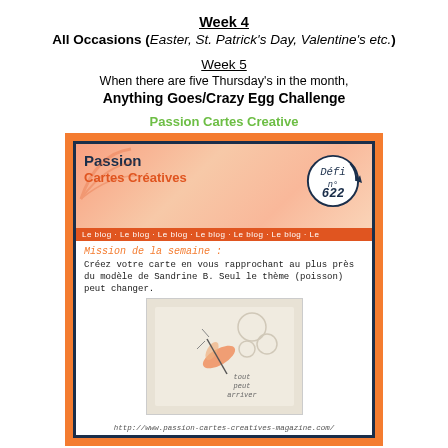Week 4
All Occasions (Easter, St. Patrick's Day, Valentine's etc.)
Week 5
When there are five Thursday's in the month,
Anything Goes/Crazy Egg Challenge
Passion Cartes Creative
[Figure (screenshot): Screenshot of Passion Cartes Créatives blog challenge banner showing Défi n° 622 with orange gradient header, mission text in French about creating a card following Sandrine B.'s model, and a photo of a card with a dragonfly/fish motif. URL: http://www.passion-cartes-creatives-magazine.com/]